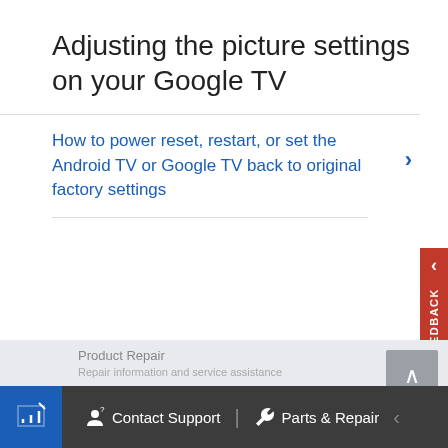Adjusting the picture settings on your Google TV
How to power reset, restart, or set the Android TV or Google TV back to original factory settings
Contact Support   Parts & Repair